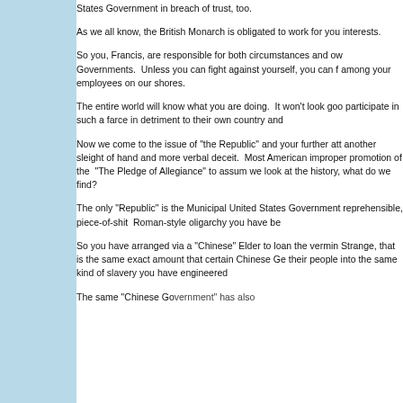States Government in breach of trust, too.
As we all know, the British Monarch is obligated to work for your interests.
So you, Francis, are responsible for both circumstances and ow Governments.  Unless you can fight against yourself, you can f among your employees on our shores.
The entire world will know what you are doing.  It won't look go participate in such a farce in detriment to their own country and
Now we come to the issue of "the Republic" and your further att another sleight of hand and more verbal deceit.  Most American improper promotion of the  "The Pledge of Allegiance" to assum we look at the history, what do we find?
The only "Republic" is the Municipal United States Government reprehensible, piece-of-shit  Roman-style oligarchy you have be
So you have arranged via a "Chinese" Elder to loan the vermin Strange, that is the same exact amount that certain Chinese Ge their people into the same kind of slavery you have engineered
The same "Chinese Government" has also...